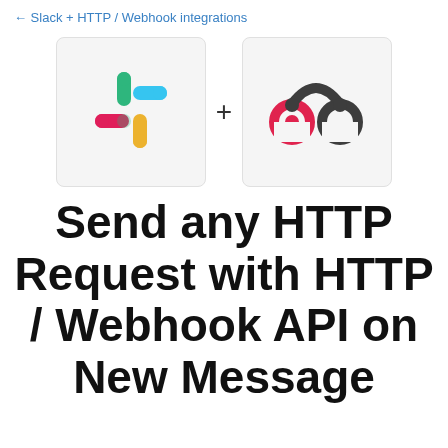← Slack + HTTP / Webhook integrations
[Figure (logo): Slack logo and Webhook/HTTP logo side by side with a plus sign between them]
Send any HTTP Request with HTTP / Webhook API on New Message